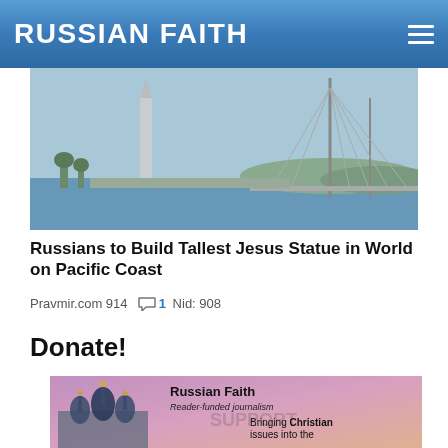RUSSIAN FAITH
[Figure (photo): Aerial/waterfront view with tall obelisk/monument and cable-stay bridge in background, blue sky and water]
Russians to Build Tallest Jesus Statue in World on Pacific Coast
Pravmir.com 914  1 Nid: 908
Donate!
[Figure (photo): Russian Orthodox church with ornate onion domes against a purple/pink sky. Text overlay reads: Russian Faith, Reader-funded journalism, Bringing Christian issues into the secular media cycle, SUPPORT]